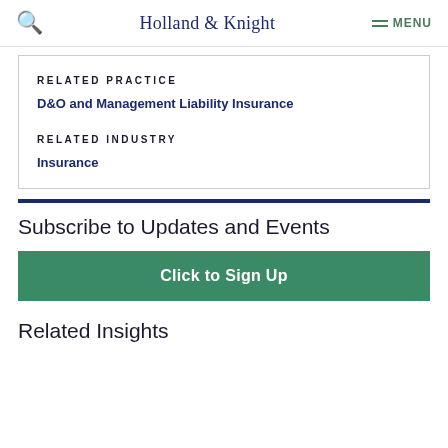Holland & Knight  MENU
RELATED PRACTICE
D&O and Management Liability Insurance
RELATED INDUSTRY
Insurance
Subscribe to Updates and Events
Click to Sign Up
Related Insights